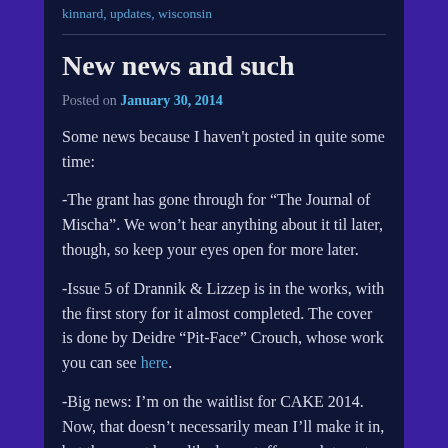kinnard, updates, wisconsin
New news and such
Posted on January 30, 2014
Some news because I haven't posted in quite some time:
-The grant has gone through for “The Journal of Mischa”. We won’t hear anything about it til later, though, so keep your eyes open for more later.
-Issue 5 of Drannik & Lizzep is in the works, with the first story for it almost completed. The cover is done by Deidre “Pit-Face” Crouch, whose work you can see here.
-Big news: I’m on the waitlist for CAKE 2014. Now, that doesn’t necessarily mean I’ll make it in, but they must have liked my stuff enough to put me on the waitlist for the show. We’ll see what happens in the next few months.